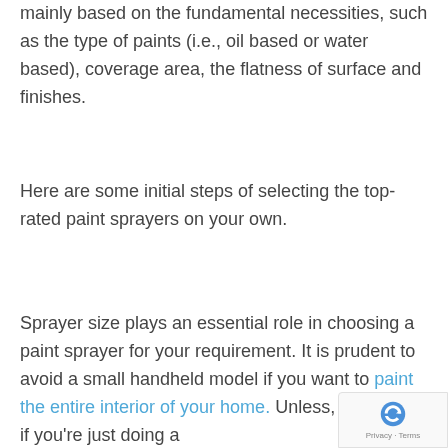mainly based on the fundamental necessities, such as the type of paints (i.e., oil based or water based), coverage area, the flatness of surface and finishes.
Here are some initial steps of selecting the top-rated paint sprayers on your own.
Sprayer size plays an essential role in choosing a paint sprayer for your requirement. It is prudent to avoid a small handheld model if you want to paint the entire interior of your home. Unless, of course, if you're just doing a small bit.